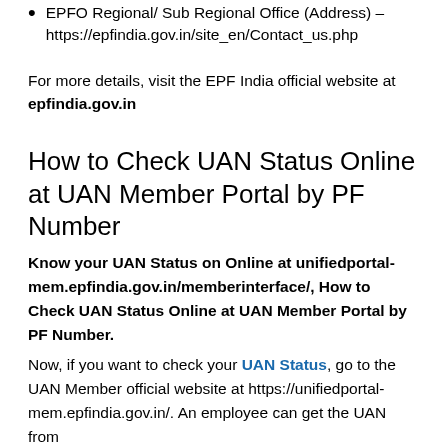EPFO Regional/ Sub Regional Office (Address) – https://epfindia.gov.in/site_en/Contact_us.php
For more details, visit the EPF India official website at epfindia.gov.in
How to Check UAN Status Online at UAN Member Portal by PF Number
Know your UAN Status on Online at unifiedportal-mem.epfindia.gov.in/memberinterface/, How to Check UAN Status Online at UAN Member Portal by PF Number.
Now, if you want to check your UAN Status, go to the UAN Member official website at https://unifiedportal-mem.epfindia.gov.in/. An employee can get the UAN from